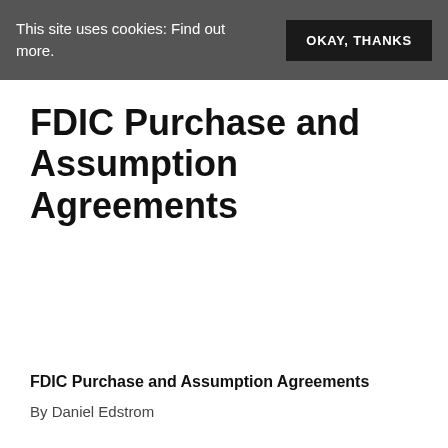This site uses cookies: Find out more.
FDIC Purchase and Assumption Agreements
FDIC Purchase and Assumption Agreements
By Daniel Edstrom